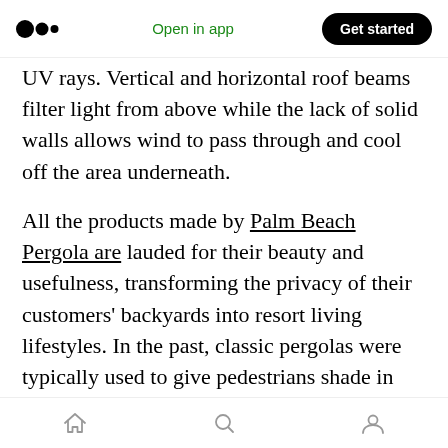Medium logo | Open in app | Get started
UV rays. Vertical and horizontal roof beams filter light from above while the lack of solid walls allows wind to pass through and cool off the area underneath.
All the products made by Palm Beach Pergola are lauded for their beauty and usefulness, transforming the privacy of their customers' backyards into resort living lifestyles. In the past, classic pergolas were typically used to give pedestrians shade in areas such as walkways, entrances, frame openings or other forms of simple shade in entertaining or relaxing areas.
Home | Search | Profile